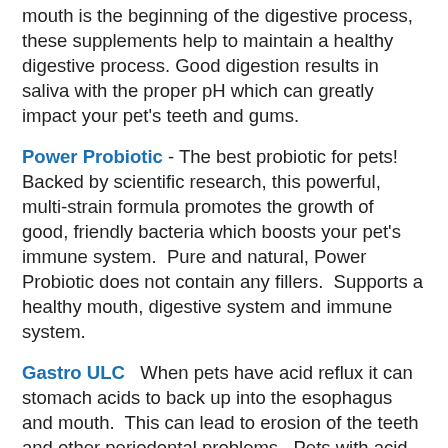mouth is the beginning of the digestive process, these supplements help to maintain a healthy digestive process. Good digestion results in saliva with the proper pH which can greatly impact your pet's teeth and gums.
Power Probiotic - The best probiotic for pets! Backed by scientific research, this powerful, multi-strain formula promotes the growth of good, friendly bacteria which boosts your pet's immune system. Pure and natural, Power Probiotic does not contain any fillers. Supports a healthy mouth, digestive system and immune system.
Gastro ULC When pets have acid reflux it can stomach acids to back up into the esophagus and mouth. This can lead to erosion of the teeth and other periodontal problems. Pets with acid reflux tend to have bad breath as well. Gastro ULC relieves acid stomach pain and repairs inflamed tissues.
K9 Digestive Enzymes- This powerful digestive enzyme is more complex than typical pet enzymes because it contains 2 ingredients essential (Ox bile extract and HCL) for the digestion of fats and protein.. When food is poorly digested,